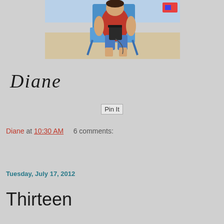[Figure (photo): A child sitting in a blue beach chair at the beach, wearing a red shirt and blue shorts, holding a dark cup or bucket, with sandy beach in the background]
[Figure (other): Diane signature in cursive italic script]
[Figure (other): Pin It button/image]
Diane at 10:30 AM     6 comments:
Share
Tuesday, July 17, 2012
Thirteen